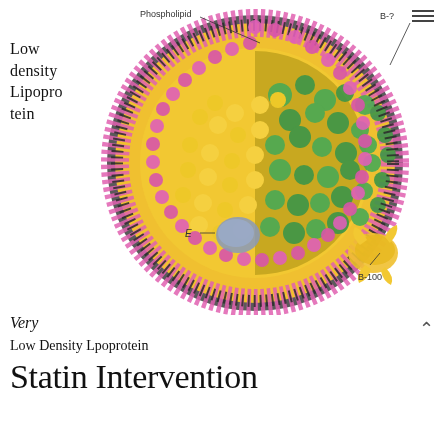Low density Lipoprotein
[Figure (illustration): Cross-section diagram of a Low Density Lipoprotein (LDL) particle showing its internal structure. The spherical particle has labels for Phospholipid (top), E (left side, pointing to a blue/grey region), and B-100 (bottom right). The outer shell consists of pink/magenta spheres and yellow spheres. The interior shows yellow cholesterol ester balls and green helical structures. The right half shows a cutaway revealing the internal arrangement of lipids and proteins including a yellow frilly structure labeled B-100.]
Very
Low Density Lpoprotein
Statin Intervention